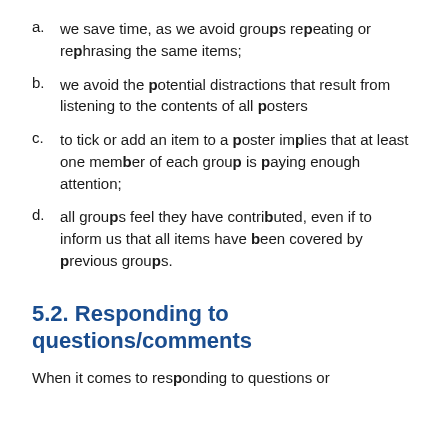a. we save time, as we avoid groups repeating or rephrasing the same items;
b. we avoid the potential distractions that result from listening to the contents of all posters
c. to tick or add an item to a poster implies that at least one member of each group is paying enough attention;
d. all groups feel they have contributed, even if to inform us that all items have been covered by previous groups.
5.2. Responding to questions/comments
When it comes to responding to questions or